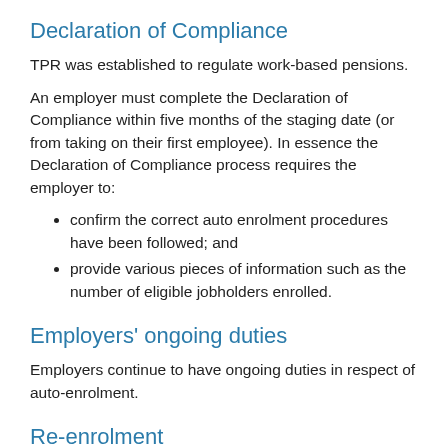Declaration of Compliance
TPR was established to regulate work-based pensions.
An employer must complete the Declaration of Compliance within five months of the staging date (or from taking on their first employee). In essence the Declaration of Compliance process requires the employer to:
confirm the correct auto enrolment procedures have been followed; and
provide various pieces of information such as the number of eligible jobholders enrolled.
Employers' ongoing duties
Employers continue to have ongoing duties in respect of auto-enrolment.
Re-enrolment
Employers have a legal duty to re-enrol certain employees